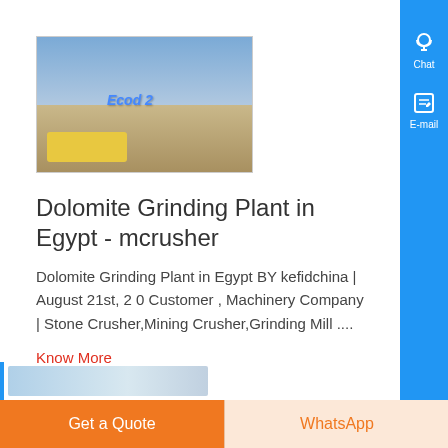[Figure (photo): Dolomite grinding plant/quarry site with yellow machinery in a desert landscape with blue sky and overlay text]
Dolomite Grinding Plant in Egypt - mcrusher
Dolomite Grinding Plant in Egypt BY kefidchina | August 21st, 2 0 Customer , Machinery Company | Stone Crusher,Mining Crusher,Grinding Mill ....
Know More